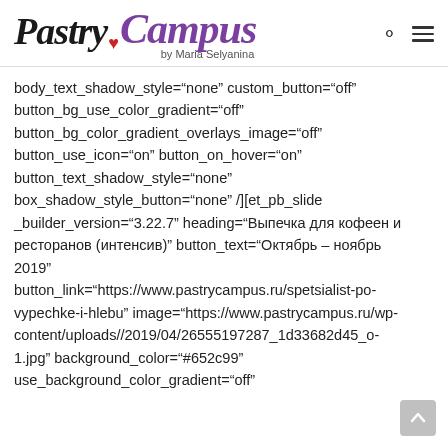[Figure (logo): Pastry Campus by Maria Selyanina logo with search and menu icons]
body_text_shadow_style="none" custom_button="off" button_bg_use_color_gradient="off" button_bg_color_gradient_overlays_image="off" button_use_icon="on" button_on_hover="on" button_text_shadow_style="none" box_shadow_style_button="none" /][et_pb_slide _builder_version="3.22.7" heading="Выпечка для кофеен и ресторанов (интенсив)" button_text="Октябрь – ноябрь 2019" button_link="https://www.pastrycampus.ru/spetsialist-po-vypechke-i-hlebu" image="https://www.pastrycampus.ru/wp-content/uploads//2019/04/26555197287_1d33682d45_o-1.jpg" background_color="#652c99" use_background_color_gradient="off"